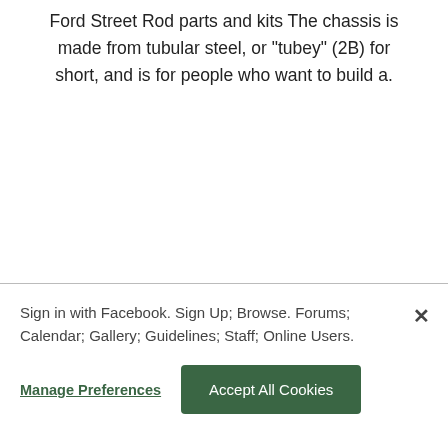Ford Street Rod parts and kits The chassis is made from tubular steel, or "tubey" (2B) for short, and is for people who want to build a.
Sign in with Facebook. Sign Up; Browse. Forums; Calendar; Gallery; Guidelines; Staff; Online Users.
Manage Preferences
Accept All Cookies